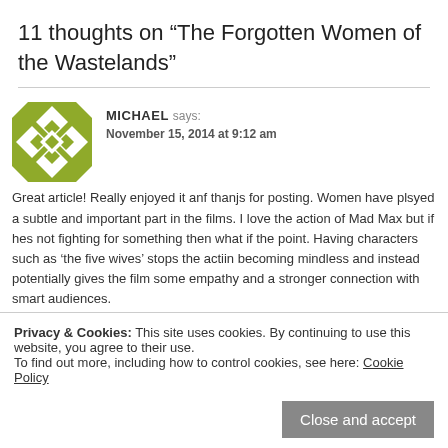11 thoughts on “The Forgotten Women of the Wastelands”
MICHAEL says: November 15, 2014 at 9:12 am
Great article! Really enjoyed it anf thanjs for posting. Women have plsyed a subtle and important part in the films. I love the action of Mad Max but if hes not fighting for something then what if the point. Having characters such as ‘the five wives’ stops the actiin becoming mindless and instead potentially gives the film some empathy and a stronger connection with smart audiences.
Liked by 1 person
Privacy & Cookies: This site uses cookies. By continuing to use this website, you agree to their use.
To find out more, including how to control cookies, see here: Cookie Policy